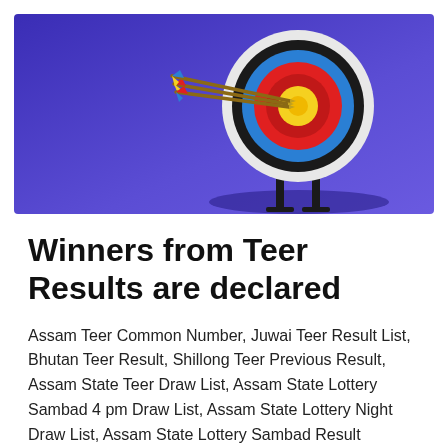[Figure (illustration): An archery target board with arrows hitting the bullseye, set against a blue/purple gradient background. The target has concentric circles in yellow, red, blue, and black/white rings, mounted on a stand.]
Winners from Teer Results are declared
Assam Teer Common Number, Juwai Teer Result List, Bhutan Teer Result, Shillong Teer Previous Result, Assam State Teer Draw List, Assam State Lottery Sambad 4 pm Draw List, Assam State Lottery Night Draw List, Assam State Lottery Sambad Result 24/05/2022 Live Results, Assam State Teer Lottery